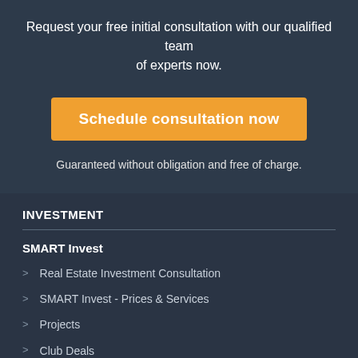Request your free initial consultation with our qualified team of experts now.
Schedule consultation now
Guaranteed without obligation and free of charge.
INVESTMENT
SMART Invest
Real Estate Investment Consultation
SMART Invest - Prices & Services
Projects
Club Deals